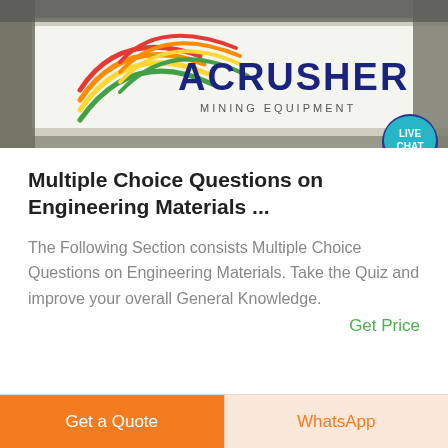[Figure (photo): ACRUSHER Mining Equipment logo/banner image showing mining machinery with the brand name ACRUSHER in blue bold letters and a colorful striped logo above it on a white background, machinery in background.]
[Figure (illustration): Live Chat speech bubble icon in teal/dark blue color with text LIVE CHAT in white.]
Multiple Choice Questions on Engineering Materials ...
The Following Section consists Multiple Choice Questions on Engineering Materials. Take the Quiz and improve your overall General Knowledge.
Get Price
Get a Quote
WhatsApp